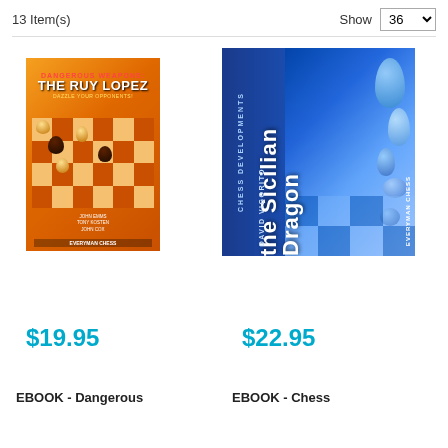13 Item(s)
Show 36
[Figure (illustration): Book cover: Dangerous Weapons: The Ruy Lopez - Dazzle Your Opponents!, orange chess board cover, authors John Emms, Tony Kosten, John Cox, Everyman Chess]
[Figure (illustration): Book cover: Chess Developments: The Sicilian Dragon by David Vigorito, blue cover with chess pieces, Everyman Chess]
$19.95
$22.95
EBOOK - Dangerous
EBOOK - Chess